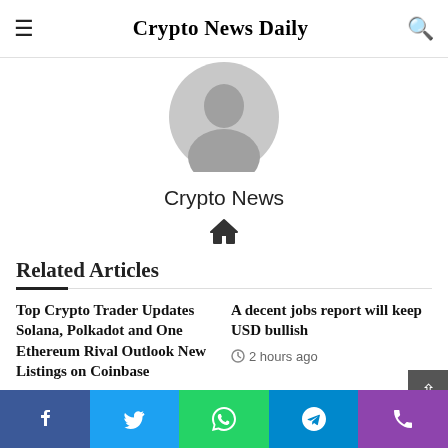Crypto News Daily
[Figure (illustration): Default user avatar — grey silhouette of a person on a light grey circular background]
Crypto News
[Figure (illustration): Home icon (house symbol)]
Related Articles
Top Crypto Trader Updates Solana, Polkadot and One Ethereum Rival Outlook New Listings on Coinbase
2 hours ago
A decent jobs report will keep USD bullish
2 hours ago